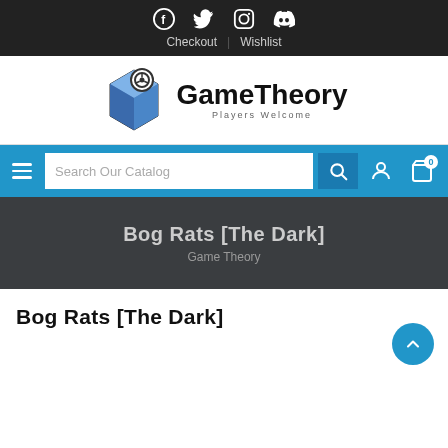Social icons: Facebook, Twitter, Instagram, Discord | Checkout | Wishlist
[Figure (logo): GameTheory logo with blue 3D cube and steering wheel icon, text 'GameTheory Players Welcome']
Search Our Catalog navigation bar with hamburger menu, search box, search button, account icon, cart icon with 0
Bog Rats [The Dark]
Game Theory
Bog Rats [The Dark]